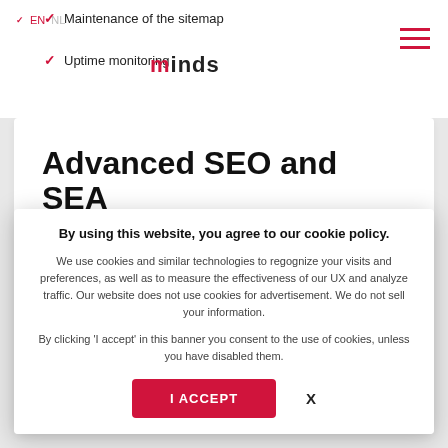✓ Maintenance of the sitemap
✓ Uptime monitoring
minds
Advanced SEO and SEA
Advanced package for SEO and SEA maintenance. This option includes all items from
By using this website, you agree to our cookie policy.
We use cookies and similar technologies to regognize your visits and preferences, as well as to measure the effectiveness of our UX and analyze traffic. Our website does not use cookies for advertisement. We do not sell your information.
By clicking 'I accept' in this banner you consent to the use of cookies, unless you have disabled them.